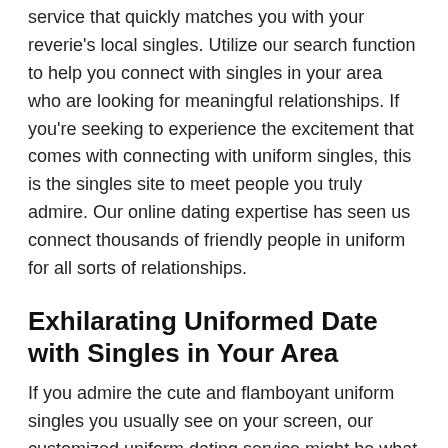service that quickly matches you with your reverie's local singles. Utilize our search function to help you connect with singles in your area who are looking for meaningful relationships. If you're seeking to experience the excitement that comes with connecting with uniform singles, this is the singles site to meet people you truly admire. Our online dating expertise has seen us connect thousands of friendly people in uniform for all sorts of relationships.
Exhilarating Uniformed Date with Singles in Your Area
If you admire the cute and flamboyant uniform singles you usually see on your screen, our customized uniform dating service might be what you need. We offer all our users an online platform to search, match, and connect with their dream partners from varied races. Become our member through a simple and free registration process to explore the brilliant matching system, secure chat rooms, and online customer support services. There are loads of uniform people nearby looking to establish serious relationships with like-minded